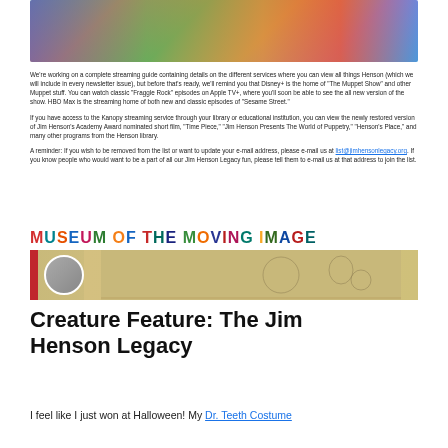[Figure (photo): Group photo of children and Muppet characters in colorful costumes]
We're working on a complete streaming guide containing details on the different services where you can view all things Henson (which we will include in every newsletter issue), but before that's ready, we'll remind you that Disney+ is the home of "The Muppet Show" and other Muppet stuff. You can watch classic "Fraggle Rock" episodes on Apple TV+, where you'll soon be able to see the all new version of the show. HBO Max is the streaming home of both new and classic episodes of "Sesame Street."
If you have access to the Kanopy streaming service through your library or educational institution, you can view the newly restored version of Jim Henson's Academy Award nominated short film, "Time Piece," "Jim Henson Presents The World of Puppetry," "Henson's Place," and many other programs from the Henson library.
A reminder: If you wish to be removed from the list or want to update your e-mail address, please e-mail us at list@jimhensonlegacy.org. If you know people who would want to be a part of all our Jim Henson Legacy fun, please tell them to e-mail us at that address to join the list.
[Figure (logo): Museum of the Moving Image colorful logo text]
[Figure (photo): Museum of the Moving Image banner with circular portrait and illustrated figures on tan background]
Creature Feature: The Jim Henson Legacy
I feel like I just won at Halloween! My Dr. Teeth Costume